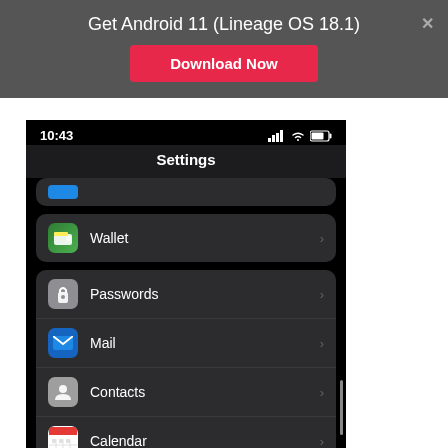Get Android 11 (Lineage OS 18.1)
Download Now
[Figure (screenshot): iOS Settings screen showing dark mode with menu items: Wallet, Passwords, Mail, Contacts, Calendar, Notes, Reminders. Status bar shows time 10:43 with signal, wifi, and battery icons.]